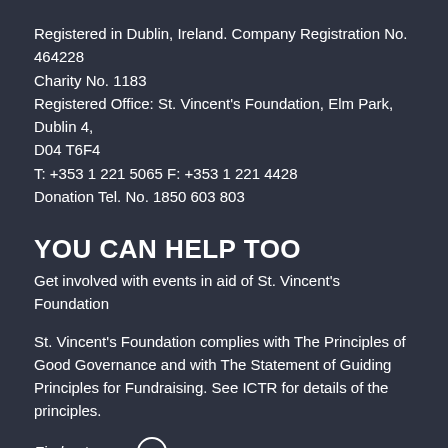Registered in Dublin, Ireland. Company Registration No. 464228 Charity No. 1183
Registered Office: St. Vincent's Foundation, Elm Park, Dublin 4, D04 T6F4
T: +353 1 221 5065 F: +353 1 221 4428
Donation Tel. No. 1850 603 803
YOU CAN HELP TOO
Get involved with events in aid of St. Vincent's Foundation
St. Vincent's Foundation complies with The Principles of Good Governance and with The Statement of Guiding Principles for Fundraising. See ICTR for details of the principles.
Find out more ›
About Cookies
We use cookies to improve your browsing experience. By clicking "Accept All Cookies", you agree to the storing of cookies on your device to enhance site navigation and analyse site usage. You can